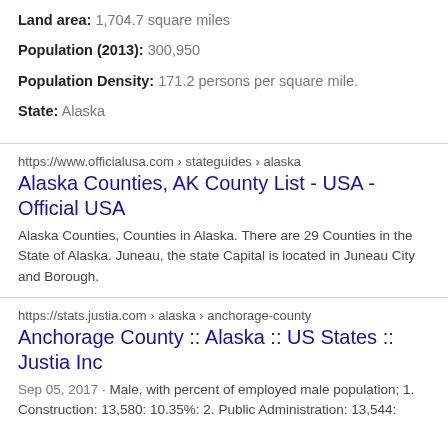Land area: 1,704.7 square miles
Population (2013): 300,950
Population Density: 171.2 persons per square mile.
State: Alaska
https://www.officialusa.com › stateguides › alaska
Alaska Counties, AK County List - USA - Official USA
Alaska Counties, Counties in Alaska. There are 29 Counties in the State of Alaska. Juneau, the state Capital is located in Juneau City and Borough.
https://stats.justia.com › alaska › anchorage-county
Anchorage County :: Alaska :: US States :: Justia Inc
Sep 05, 2017 · Male, with percent of employed male population; 1. Construction: 13,580: 10.35%: 2. Public Administration: 13,544: